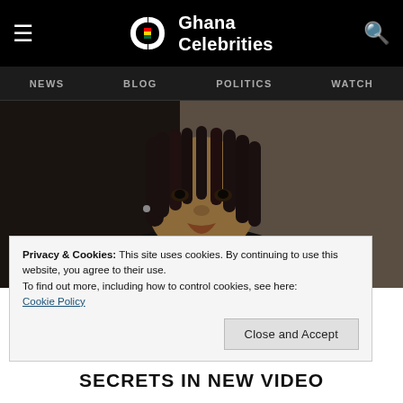Ghana Celebrities — NEWS  BLOG  POLITICS  WATCH
[Figure (photo): Close-up photo of a person with long dark dreadlocks wearing a black jacket, looking slightly upward, in a dimly lit indoor setting.]
Privacy & Cookies: This site uses cookies. By continuing to use this website, you agree to their use.
To find out more, including how to control cookies, see here:
Cookie Policy
SECRETS IN NEW VIDEO